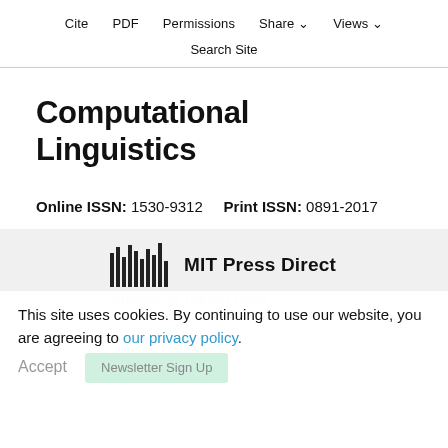Cite   PDF   Permissions   Share ∨   Views ∨
Search Site
Computational Linguistics
Online ISSN: 1530-9312   Print ISSN: 0891-2017
[Figure (logo): MIT Press Direct logo with barcode-style vertical bars and bold text 'MIT Press Direct']
A product of The MIT Press.
This site uses cookies. By continuing to use our website, you are agreeing to our privacy policy.
Accept   Newsletter Sign Up